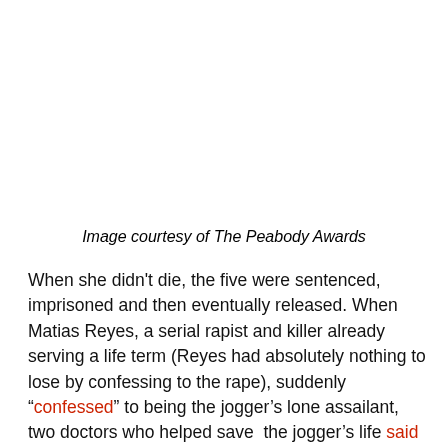Image courtesy of The Peabody Awards
When she didn't die, the five were sentenced, imprisoned and then eventually released. When Matias Reyes, a serial rapist and killer already serving a life term (Reyes had absolutely nothing to lose by confessing to the rape), suddenly “confessed” to being the jogger’s lone assailant, two doctors who helped save the jogger’s life said her wounds were not consistent with his account of the attack, while one state